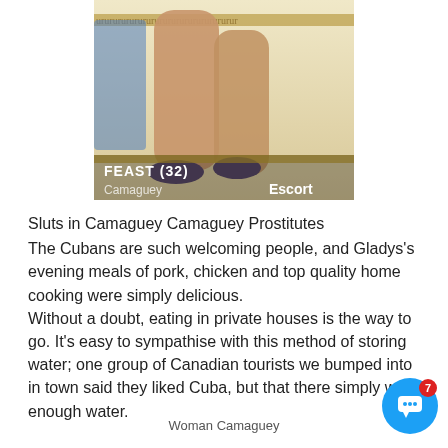[Figure (photo): Photo of woman's legs with decorative border at top. Overlay text shows name FEAST (32), location Camaguey, and type Escort.]
Sluts in Camaguey Camaguey Prostitutes
The Cubans are such welcoming people, and Gladys's evening meals of pork, chicken and top quality home cooking were simply delicious.
Without a doubt, eating in private houses is the way to go. It's easy to sympathise with this method of storing water; one group of Canadian tourists we bumped into in town said they liked Cuba, but that there simply was enough water.
Woman Camaguey